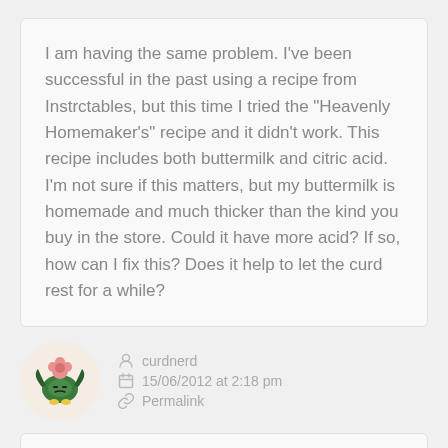I am having the same problem. I've been successful in the past using a recipe from Instrctables, but this time I tried the "Heavenly Homemaker's" recipe and it didn't work. This recipe includes both buttermilk and citric acid. I'm not sure if this matters, but my buttermilk is homemade and much thicker than the kind you buy in the store. Could it have more acid? If so, how can I fix this? Does it help to let the curd rest for a while?
[Figure (illustration): Circular avatar with cartoon illustration of a dark green broccoli-like character with pink flower on top, bat wings, and yellow feet on a peach/cream background]
curdnerd
15/06/2012 at 2:18 pm
Permalink
Hi Allison